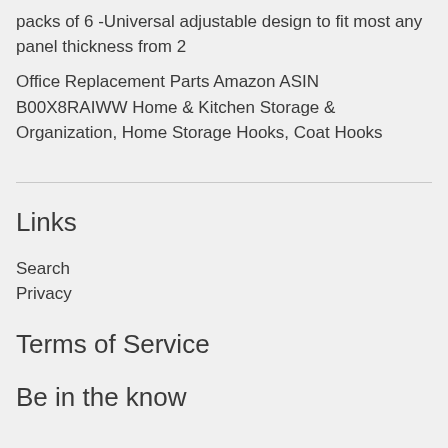packs of 6 -Universal adjustable design to fit most any panel thickness from 2
Office Replacement Parts Amazon ASIN B00X8RAIWW Home & Kitchen Storage & Organization, Home Storage Hooks, Coat Hooks
Links
Search
Privacy
Terms of Service
Be in the know